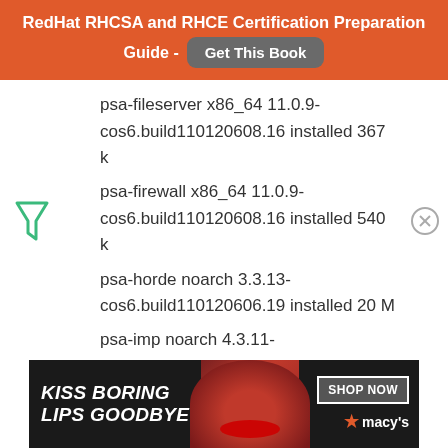RedHat RHCSA and RHCE Certification Preparation Guide - Get This Book
psa-fileserver x86_64 11.0.9-cos6.build110120608.16 installed 367 k
psa-firewall x86_64 11.0.9-cos6.build110120608.16 installed 540 k
psa-horde noarch 3.3.13-cos6.build110120606.19 installed 20 M
psa-imp noarch 4.3.11-
[Figure (advertisement): Macy's advertisement: KISS BORING LIPS GOODBYE with SHOP NOW button and Macy's star logo]